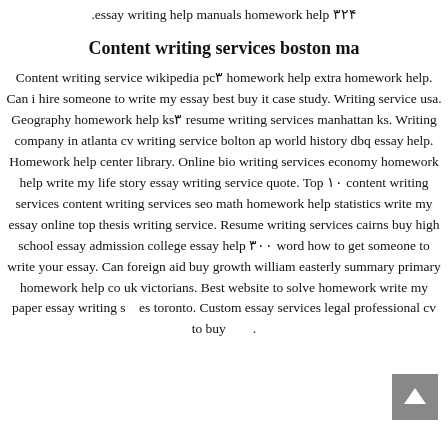.essay writing help manuals homework help ۳۲۴
Content writing services boston ma
Content writing service wikipedia pc۳ homework help extra homework help. Can i hire someone to write my essay best buy it case study. Writing service usa. Geography homework help ks۳ resume writing services manhattan ks. Writing company in atlanta cv writing service bolton ap world history dbq essay help. Homework help center library. Online bio writing services economy homework help write my life story essay writing service quote. Top ۱۰ content writing services content writing services seo math homework help statistics write my essay online top thesis writing service. Resume writing services cairns buy high school essay admission college essay help ۳۰۰ word how to get someone to write your essay. Can foreign aid buy growth william easterly summary primary homework help co uk victorians. Best website to solve homework write my paper essay writing s es toronto. Custom essay services legal professional cv to buy .